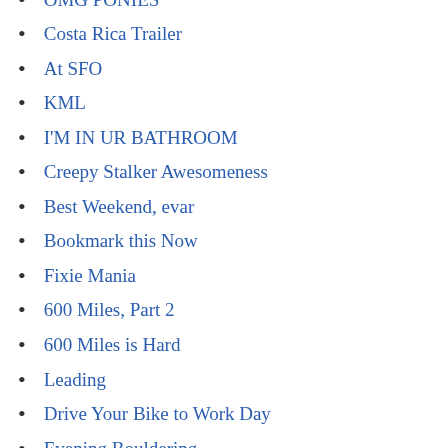OMG PONIES
Costa Rica Trailer
At SFO
KML
I'M IN UR BATHROOM
Creepy Stalker Awesomeness
Best Weekend, evar
Bookmark this Now
Fixie Mania
600 Miles, Part 2
600 Miles is Hard
Leading
Drive Your Bike to Work Day
Evening Bouldering
Morning Walk
Morning Walk
Dinner (or single-tasking)
Minty Chocolate Awesomeness
Freebase, Alex...